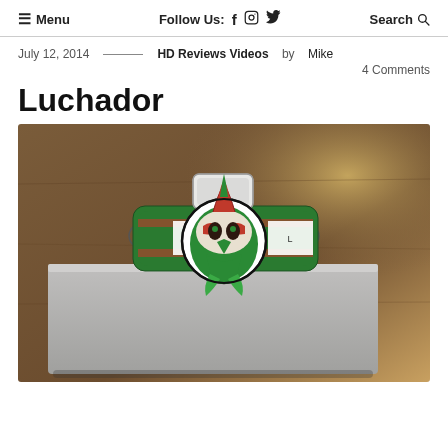≡ Menu   Follow Us: f  [instagram]  [twitter]   Search 🔍
July 12, 2014 — HD Reviews Videos by Mike
4 Comments
Luchador
[Figure (photo): A Luchador-themed cuff bracelet featuring a lucha libre mask design in green, red, and white, resting on a gray surface. The bracelet has a circular mask medallion on the front with detailed color artwork.]